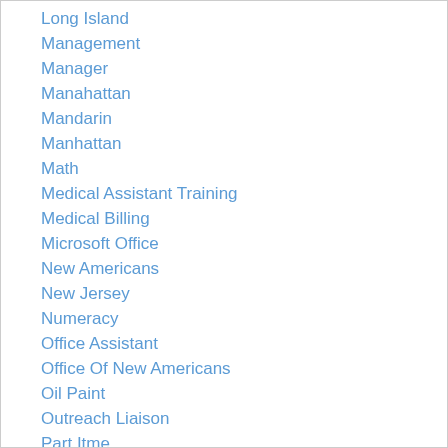Long Island
Management
Manager
Manahattan
Mandarin
Manhattan
Math
Medical Assistant Training
Medical Billing
Microsoft Office
New Americans
New Jersey
Numeracy
Office Assistant
Office Of New Americans
Oil Paint
Outreach Liaison
Part Itme
Part Time
Pashto/Dari
Pre HSE